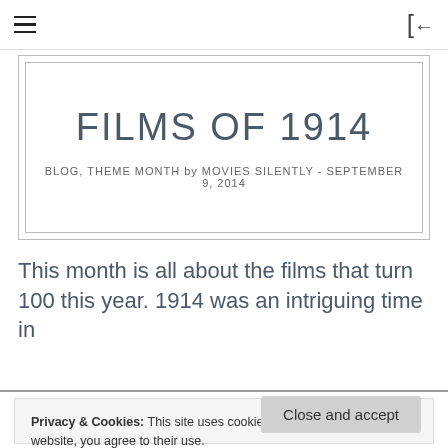≡  [←
FILMS OF 1914
BLOG, THEME MONTH by MOVIES SILENTLY - SEPTEMBER 9, 2014
This month is all about the films that turn 100 this year. 1914 was an intriguing time in
Privacy & Cookies: This site uses cookies. By continuing to use this website, you agree to their use.
To find out more, including how to control cookies, see here: Cookie Policy